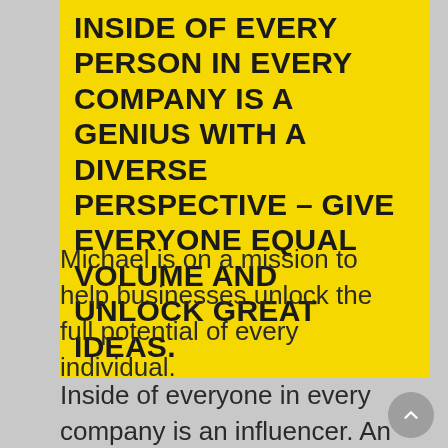INSIDE OF EVERY PERSON IN EVERY COMPANY IS A GENIUS WITH A DIVERSE PERSPECTIVE – GIVE EVERYONE EQUAL VOLUME AND UNLOCK GREAT IDEAS.
Michael is on a mission to help businesses unlock the full potential of every individual.
Inside of everyone in every company is an influencer. An influencer with diverse